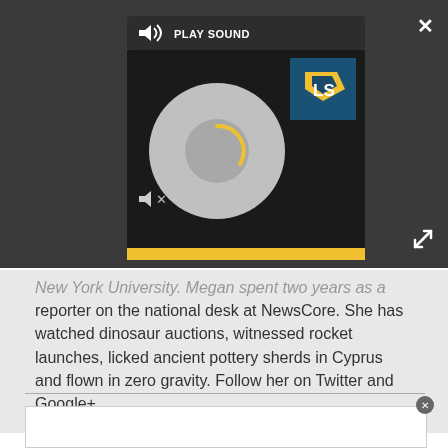[Figure (screenshot): Audio media player widget with 'PLAY SOUND' label, speaker icons, circular record/loading graphic, LS logo, yellow progress bar, close (X) button and expand button on dark background]
New York University. Megan spent two years as a reporter on the national desk at NewsCore. She has watched dinosaur auctions, witnessed rocket launches, licked ancient pottery sherds in Cyprus and flown in zero gravity. Follow her on Twitter and Google+.
[Figure (screenshot): White advertisement area at the bottom with a circular close button]